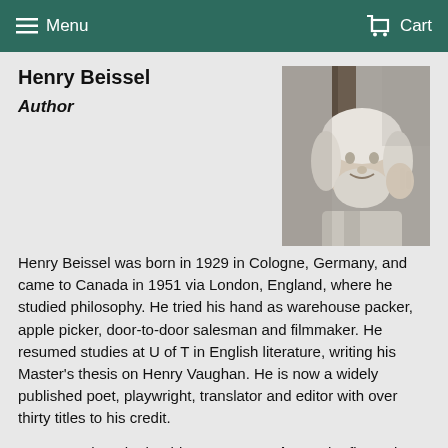Menu   Cart
Henry Beissel
Author
[Figure (photo): Black and white portrait photo of Henry Beissel, an older man with white hair and beard, raising one hand, standing near a tree outdoors.]
Henry Beissel was born in 1929 in Cologne, Germany, and came to Canada in 1951 via London, England, where he studied philosophy. He tried his hand as warehouse packer, apple picker, door-to-door salesman and filmmaker. He resumed studies at U of T in English literature, writing his Master's thesis on Henry Vaughan. He is now a widely published poet, playwright, translator and editor with over thirty titles to his credit.
F.R. Scott thought that his Cantos North was the first epic to see the Canadian north "in its entirety, as a matrix which binds the whole together in a national mythology." His play Inuk and the Sun had its premiere in Stratford in 1973 and continues to be performed the world over.